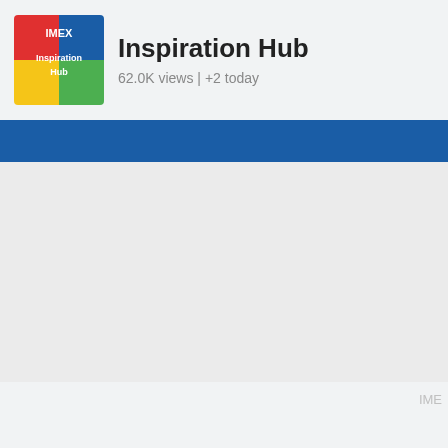[Figure (logo): IMEX Inspiration Hub colorful square logo with red, yellow, green, blue sections and white text]
Inspiration Hub
62.0K views | +2 today
Follow
IME